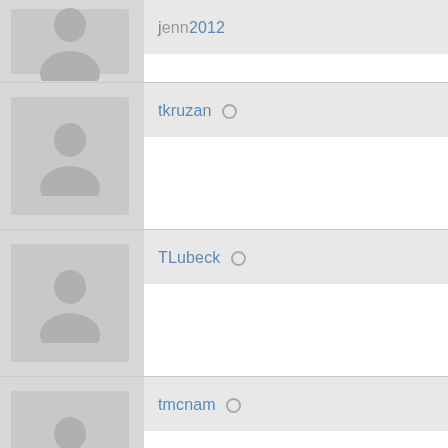[Figure (screenshot): User profile listing page showing multiple user accounts with avatar images and usernames. Users shown: (partial username at top), tkruzan, TLubeck, tmcnam, Todd long, todde, toddmellema, toklat$1. Each user has a default silhouette avatar except Todd long who has a photo of a boat/waterfront scene.]